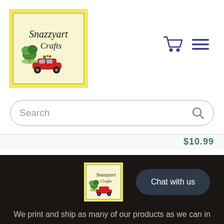[Figure (logo): Snazzyart Crafts logo — yellow background with inner cream box, decorative plant on left, red vintage car at bottom, script text 'Snazzyart Crafts']
[Figure (illustration): Shopping cart icon (dark navy/purple outline) and hamburger menu icon (three horizontal lines, dark navy/purple)]
Search
$10.99
[Figure (logo): Small Snazzyart Crafts logo in footer — yellow background, cream inner box, script text, red car]
Chat with us
We print and ship as many of our products as we can in